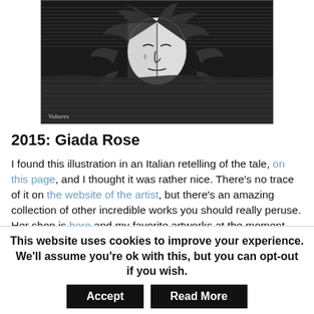[Figure (illustration): Black and white illustration showing a face with flowing hair emerging from water, woodcut or engraving style. Watermark text 'Vultures' in lower left corner.]
2015: Giada Rose
I found this illustration in an Italian retelling of the tale, on this page, and I thought it was rather nice. There's no trace of it on the website of the artist, but there's an amazing collection of other incredible works you should really peruse. Her shop is here and my favorite artworks at the moment are the Lady Winter and the Afternoon's Accomplishments. She has a very particular style.
This website uses cookies to improve your experience. We'll assume you're ok with this, but you can opt-out if you wish. Accept Read More